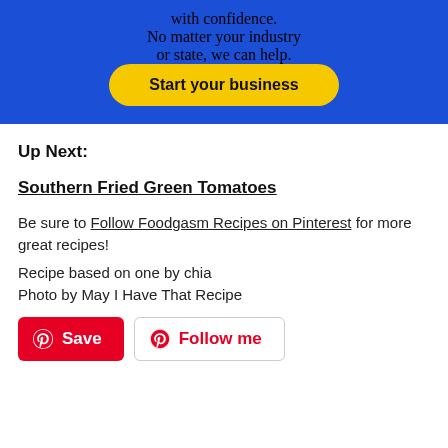[Figure (other): Blue advertisement banner with white bold text 'with confidence. No matter your industry or state, we can help.' and a yellow rounded button 'Start your business']
Up Next:
Southern Fried Green Tomatoes
Be sure to Follow Foodgasm Recipes on Pinterest for more great recipes!
Recipe based on one by chia
Photo by May I Have That Recipe
[Figure (other): Pinterest Save button (red) and Follow me button (white with red text and Pinterest logo)]